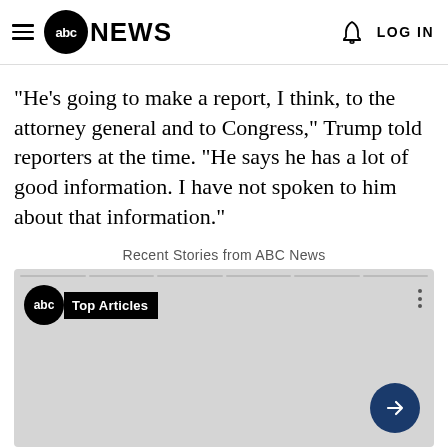abc NEWS | LOG IN
"He's going to make a report, I think, to the attorney general and to Congress," Trump told reporters at the time. "He says he has a lot of good information. I have not spoken to him about that information."
Recent Stories from ABC News
[Figure (screenshot): ABC News top articles widget with abc logo, 'Top Articles' label, three-dot menu, and a navy blue arrow button pointing right, on a light gray background.]